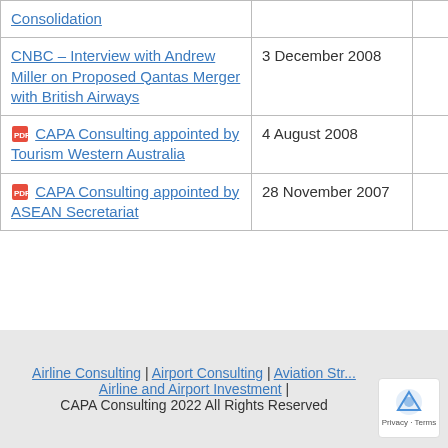|  |  |  |
| --- | --- | --- |
| Consolidation |  |  |
| CNBC – Interview with Andrew Miller on Proposed Qantas Merger with British Airways | 3 December 2008 | N/A |
| [PDF] CAPA Consulting appointed by Tourism Western Australia | 4 August 2008 | 107KB |
| [PDF] CAPA Consulting appointed by ASEAN Secretariat | 28 November 2007 | 27.9KB |
Airline Consulting | Airport Consulting | Aviation Strategy | Airline and Airport Investment | CAPA Consulting 2022 All Rights Reserved